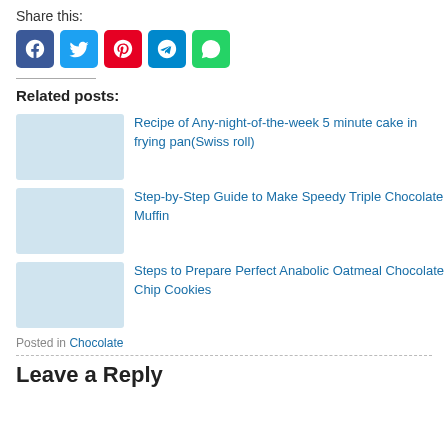Share this:
[Figure (other): Social media sharing buttons: Facebook (blue), Twitter (light blue), Pinterest (red), Telegram (blue), WhatsApp (green)]
Related posts:
Recipe of Any-night-of-the-week 5 minute cake in frying pan(Swiss roll)
Step-by-Step Guide to Make Speedy Triple Chocolate Muffin
Steps to Prepare Perfect Anabolic Oatmeal Chocolate Chip Cookies
Posted in Chocolate
Leave a Reply